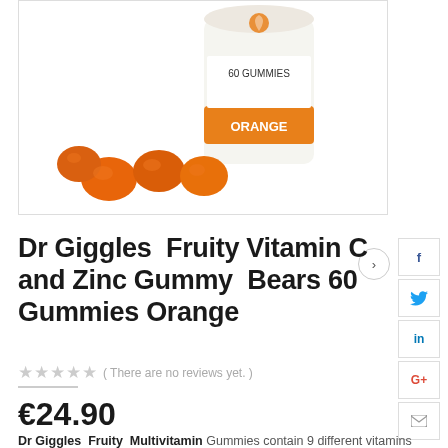[Figure (photo): Dr Giggles Fruity Vitamin C and Zinc Gummy Bears product photo — white cylindrical bottle labeled '60 GUMMIES ORANGE' with orange gummy bear candies scattered in front, on white background]
Dr Giggles  Fruity Vitamin C and Zinc Gummy  Bears 60 Gummies Orange
( There are no reviews yet. )
€24.90
Dr Giggles  Fruity  Multivitamin Gummies contain 9 different vitamins and minerals. They have been developed by our